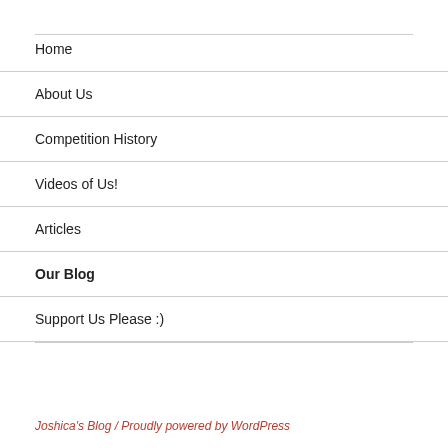Home
About Us
Competition History
Videos of Us!
Articles
Our Blog
Support Us Please :)
Joshica's Blog  /  Proudly powered by WordPress